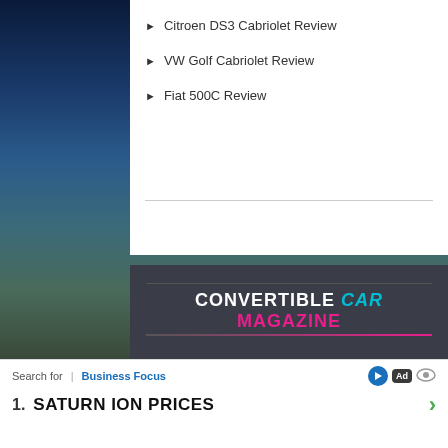Citroen DS3 Cabriolet Review
VW Golf Cabriolet Review
Fiat 500C Review
CONVERTIBLE CAR MAGAZINE
Home
Classic Convertibles
About us
Follow us on Twitter
Contact us
Like us on Facebook
Terms / Privacy
Follow us on Google+
[Figure (logo): Facebook, Twitter, and Google+ social media icons]
© 2006-2022 Convertible Car Magazine. All Rights Reserved. Non-editorial content and images are copyright © to the original source.
Search for  |  Business Focus
1.   SATURN ION PRICES